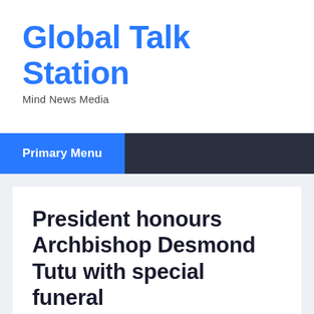Global Talk Station
Mind News Media
Primary Menu
President honours Archbishop Desmond Tutu with special funeral
December 28, 2021